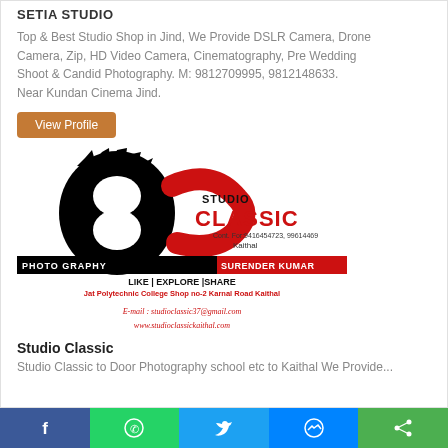SETIA STUDIO
Top & Best Studio Shop in Jind, We Provide DSLR Camera, Drone Camera, Zip, HD Video Camera, Cinematography, Pre Wedding Shoot & Candid Photography. M: 9812709995, 9812148633. Near Kundan Cinema Jind.
View Profile
[Figure (logo): Studio Classic logo with a stylized S in black and red, showing photography business branding with contact details, address at Jat Polytechnic College Shop no-2 Karnal Road Kaithal, email studioclassic37@gmail.com, website www.studioclassickaithal.com]
Studio Classic
Studio Classic to Door Photography school etc to Kaithal We Provide...
[Figure (screenshot): Bottom social sharing bar with Facebook, WhatsApp, Twitter, Messenger, and Share buttons]